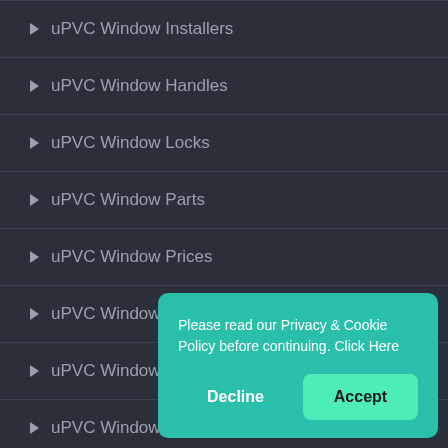uPVC Window Installers
uPVC Window Handles
uPVC Window Locks
uPVC Window Parts
uPVC Window Prices
uPVC Window Profiles
uPVC Window Repairs
uPVC Window Seals
uPVC Window S…
uPVC Supply W…
[Figure (screenshot): Cookie consent popup overlay with teal background. Text reads 'Please read our Privacy & Cookie Policy before continuing. Click Here'. Two buttons: 'Decline' (transparent) and 'Accept' (bright green/teal).]